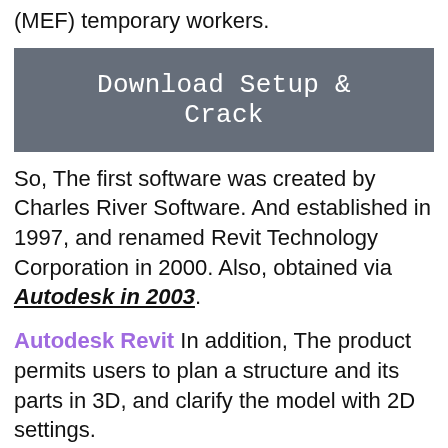(MEF) temporary workers.
[Figure (other): Download Setup & Crack button (dark grey background, white monospace text)]
So, The first software was created by Charles River Software. And established in 1997, and renamed Revit Technology Corporation in 2000. Also, obtained via Autodesk in 2003.
Autodesk Revit In addition, The product permits users to plan a structure and its parts in 3D, and clarify the model with 2D settings.
So, All components and access data from the structure model information base. In addition, Revit 4D structure data are reasonable for arranging. And checking the